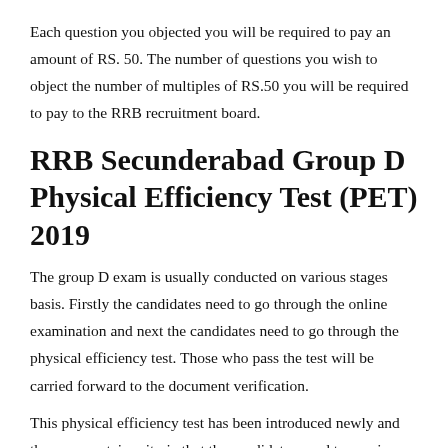Each question you objected you will be required to pay an amount of RS. 50. The number of questions you wish to object the number of multiples of RS.50 you will be required to pay to the RRB recruitment board.
RRB Secunderabad Group D Physical Efficiency Test (PET) 2019
The group D exam is usually conducted on various stages basis. Firstly the candidates need to go through the online examination and next the candidates need to go through the physical efficiency test. Those who pass the test will be carried forward to the document verification.
This physical efficiency test has been introduced newly and there are certain criteria that the candidates need to require.